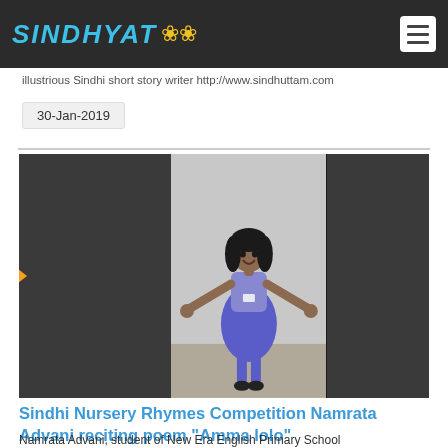SINDHYAT🌸
illustrious Sindhi short story writer http://www.sindhuttam.com
30-Jan-2019
[Figure (photo): A young girl in a blue school uniform with arms spread wide, standing in front of a whiteboard, performing a poem recitation.]
Sindhi Nursery Rhymes Competition Namrata Advani reciting poem "Amma lolo"
Namrata Advani, student of New Era English Primary School